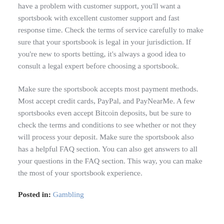have a problem with customer support, you'll want a sportsbook with excellent customer support and fast response time. Check the terms of service carefully to make sure that your sportsbook is legal in your jurisdiction. If you're new to sports betting, it's always a good idea to consult a legal expert before choosing a sportsbook.
Make sure the sportsbook accepts most payment methods. Most accept credit cards, PayPal, and PayNearMe. A few sportsbooks even accept Bitcoin deposits, but be sure to check the terms and conditions to see whether or not they will process your deposit. Make sure the sportsbook also has a helpful FAQ section. You can also get answers to all your questions in the FAQ section. This way, you can make the most of your sportsbook experience.
Posted in: Gambling